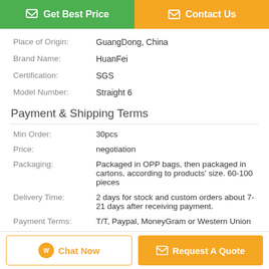[Figure (other): Green 'Get Best Price' button and orange 'Contact Us' button at the top]
| Place of Origin: | GuangDong, China |
| Brand Name: | HuanFei |
| Certification: | SGS |
| Model Number: | Straight 6 |
Payment & Shipping Terms
| Min Order: | 30pcs |
| Price: | negotiation |
| Packaging: | Packaged in OPP bags, then packaged in cartons, according to products' size. 60-100 pieces |
| Delivery Time: | 2 days for stock and custom orders about 7-21 days after receiving payment. |
| Payment Terms: | T/T, Paypal, MoneyGram or Western Union |
| Supply Ability: | 50,000pcs per month |
[Figure (other): Orange 'Chat Now' button and orange 'Request A Quote' button at the bottom]